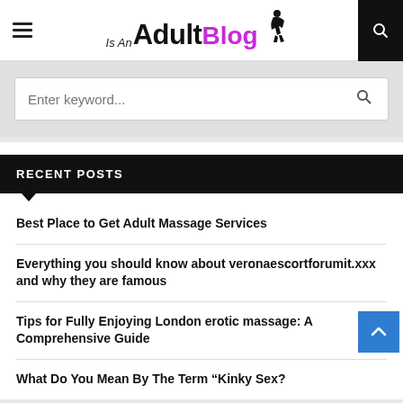Is An Adult Blog
RECENT POSTS
Best Place to Get Adult Massage Services
Everything you should know about veronaescortforumit.xxx and why they are famous
Tips for Fully Enjoying London erotic massage: A Comprehensive Guide
What Do You Mean By The Term “Kinky Sex?